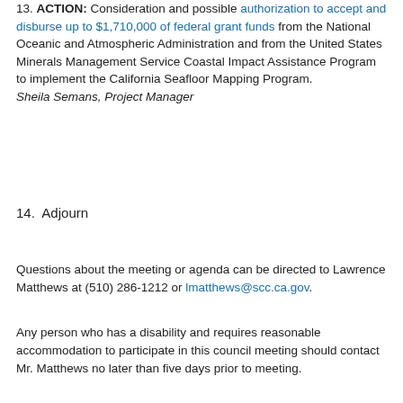13. ACTION: Consideration and possible authorization to accept and disburse up to $1,710,000 of federal grant funds from the National Oceanic and Atmospheric Administration and from the United States Minerals Management Service Coastal Impact Assistance Program to implement the California Seafloor Mapping Program.
Sheila Semans, Project Manager
14. Adjourn
Questions about the meeting or agenda can be directed to Lawrence Matthews at (510) 286-1212 or lmatthews@scc.ca.gov.
Any person who has a disability and requires reasonable accommodation to participate in this council meeting should contact Mr. Matthews no later than five days prior to meeting.